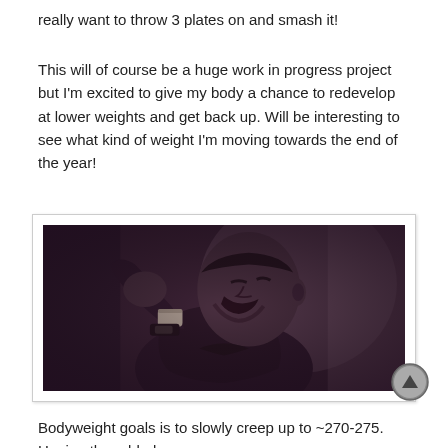really want to throw 3 plates on and smash it!
This will of course be a huge work in progress project but I'm excited to give my body a chance to redevelop at lower weights and get back up. Will be interesting to see what kind of weight I'm moving towards the end of the year!
[Figure (photo): Sepia/purple-toned photo of a man wearing a headband and wrist wrap, laughing or celebrating with his arm raised, appears to be in a gym setting]
Bodyweight goals is to slowly creep up to ~270-275. Hoping the added on